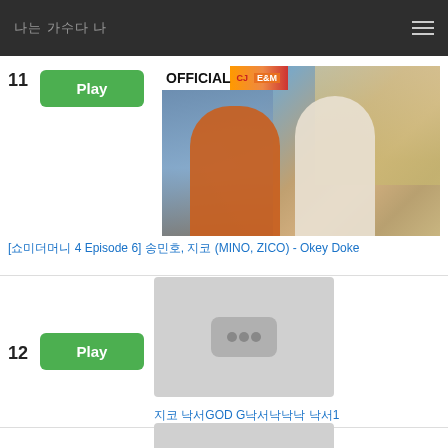나는 가수다 나
[Figure (screenshot): Video thumbnail showing two rappers in a recording studio. Orange-shirted person on left, white-shirted person on right. OFFICIAL CJ E&M badge at top.]
[쇼미더머니 4 Episode 6] 송민호, 지코 (MINO, ZICO) - Okey Doke
[Figure (screenshot): Gray placeholder video thumbnail with three dots icon]
지코 낙서GOD G낙서낙낙낙 낙서1
[Figure (screenshot): Gray placeholder video thumbnail with three dots icon (row 13)]